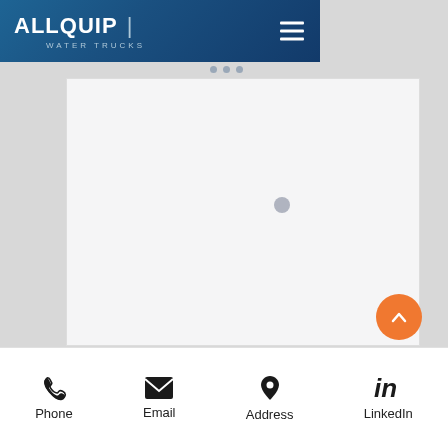[Figure (logo): AllQuip Water Trucks logo - white text on dark blue gradient background with hamburger menu icon]
[Figure (screenshot): Main content area - light grey/white background with a loading spinner dot, representing a partially loaded webpage]
[Figure (other): Orange circular scroll-to-top button with upward chevron arrow]
[Figure (other): Footer navigation bar with Phone, Email, Address, and LinkedIn icons and labels]